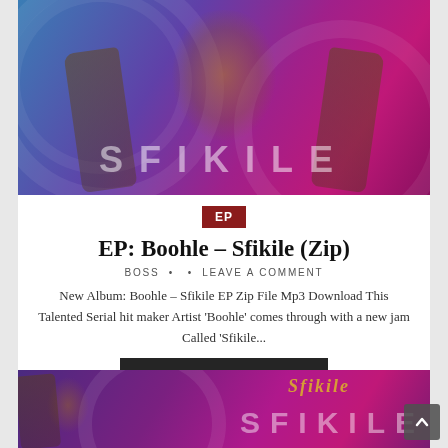[Figure (photo): Album cover photo of Boohle for the Sfikile EP — a young woman with long braided hair against a blue and purple gradient background with 'SFIKILE' text at the bottom]
EP
EP: Boohle – Sfikile (Zip)
BOSS • • LEAVE A COMMENT
New Album: Boohle – Sfikile EP Zip File Mp3 Download This Talented Serial hit maker Artist 'Boohle' comes through with a new jam Called 'Sfikile...
CONTINUE READING...
[Figure (photo): Partial view of another album cover image at the bottom of the page, similar purple/pink gradient with SFIKILE text]